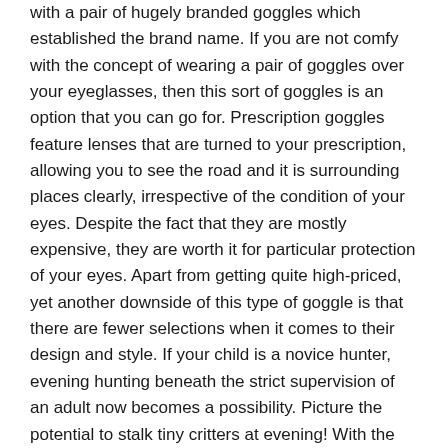with a pair of hugely branded goggles which established the brand name. If you are not comfy with the concept of wearing a pair of goggles over your eyeglasses, then this sort of goggles is an option that you can go for. Prescription goggles feature lenses that are turned to your prescription, allowing you to see the road and it is surrounding places clearly, irrespective of the condition of your eyes. Despite the fact that they are mostly expensive, they are worth it for particular protection of your eyes. Apart from getting quite high-priced, yet another downside of this type of goggle is that there are fewer selections when it comes to their design and style. If your child is a novice hunter, evening hunting beneath the strict supervision of an adult now becomes a possibility. Picture the potential to stalk tiny critters at evening! With the 50 feet of vision supplied, distinct nighttime possibilities now open up.
Airsoft guns are classed as toys but the speed they fire